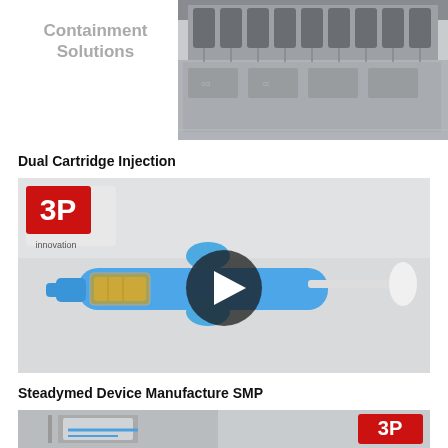Containment Solutions
[Figure (photo): Industrial pharmaceutical manufacturing equipment — row of filling/capping machines in a cleanroom]
Dual Cartridge Injection
[Figure (screenshot): Video thumbnail showing a dual cartridge injection syringe device in blue plastic, with 3P innovation logo in top left and a play button overlay in the center]
Steadymed Device Manufacture SMP
[Figure (photo): Partial photo showing medical device manufacturing equipment with 3P logo visible at right]